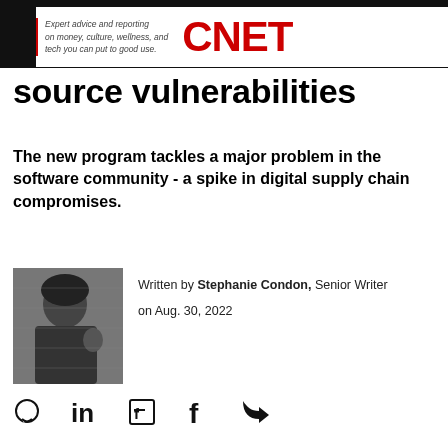Expert advice and reporting on money, culture, wellness, and tech you can put to good use. CNET
source vulnerabilities
The new program tackles a major problem in the software community - a spike in digital supply chain compromises.
[Figure (photo): Black and white photo of Stephanie Condon, Senior Writer, in front of a brick wall]
Written by Stephanie Condon, Senior Writer
on Aug. 30, 2022
[Figure (infographic): Social sharing icons: comment, LinkedIn, Flipboard, Facebook, Twitter]